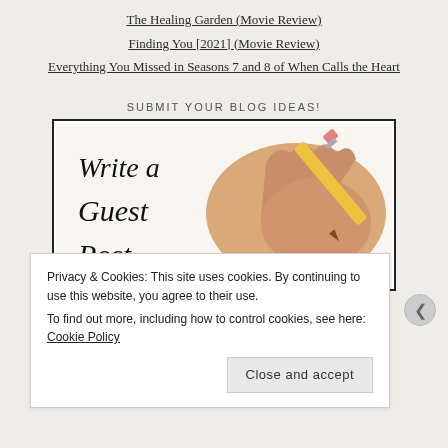The Healing Garden (Movie Review)
Finding You [2021] (Movie Review)
Everything You Missed in Seasons 7 and 8 of When Calls the Heart
SUBMIT YOUR BLOG IDEAS!
[Figure (photo): A hand holding a yellow pencil writing 'Write a Guest Post' in cursive on white paper]
Privacy & Cookies: This site uses cookies. By continuing to use this website, you agree to their use.
To find out more, including how to control cookies, see here: Cookie Policy
Close and accept